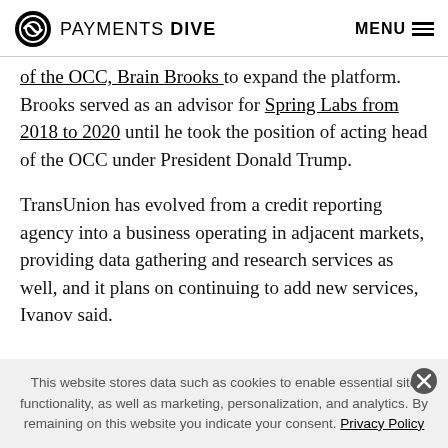PAYMENTS DIVE   MENU
of the OCC, Brain Brooks to expand the platform. Brooks served as an advisor for Spring Labs from 2018 to 2020 until he took the position of acting head of the OCC under President Donald Trump.
TransUnion has evolved from a credit reporting agency into a business operating in adjacent markets, providing data gathering and research services as well, and it plans on continuing to add new services, Ivanov said.
This website stores data such as cookies to enable essential site functionality, as well as marketing, personalization, and analytics. By remaining on this website you indicate your consent. Privacy Policy